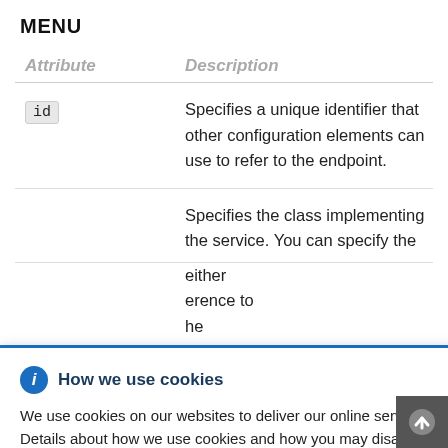MENU
| Attribute | Description |
| --- | --- |
| id | Specifies a unique identifier that other configuration elements can use to refer to the endpoint. |
|  | Specifies the class implementing the service. You can specify the ... either ... erence to the ... class ... enting the ... eful when ... |
| impleme | the value provided to the |
How we use cookies

We use cookies on our websites to deliver our online services. Details about how we use cookies and how you may disable them are set out in our Privacy Statement. By using this website you agree to our use of cookies.